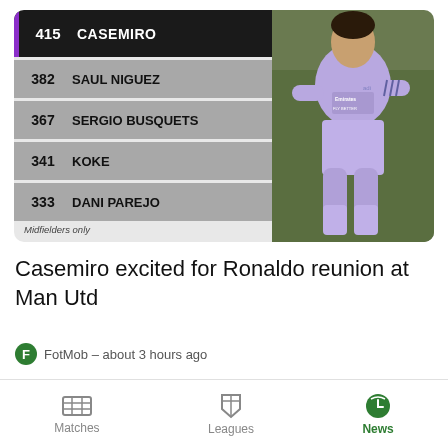[Figure (infographic): Stats infographic card showing top midfielders by appearances in La Liga. Casemiro leads with 415 appearances, followed by Saul Niguez (382), Sergio Busquets (367), Koke (341), and Dani Parejo (333). Right side shows a soccer player in a purple Real Madrid kit.]
Midfielders only
Casemiro excited for Ronaldo reunion at Man Utd
FotMob - about 3 hours ago
Matches   Leagues   News